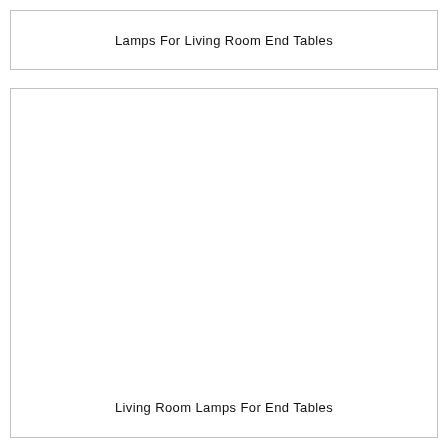Lamps For Living Room End Tables
[Figure (other): Large empty white box with text at the bottom reading 'Living Room Lamps For End Tables']
Living Room Lamps For End Tables